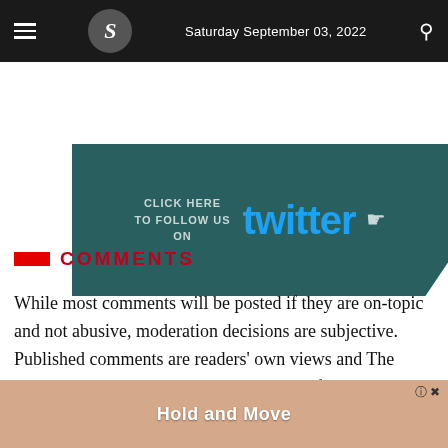Saturday September 03, 2022
[Figure (infographic): Twitter follow banner with teal/dark green background, text 'CLICK HERE TO FOLLOW US ON' and Twitter logo with cursor icon]
COMMENTS
While most comments will be posted if they are on-topic and not abusive, moderation decisions are subjective. Published comments are readers' own views and The Business Standard does not endorse any of the readers' comments.
[Figure (infographic): Bottom advertisement banner showing cartoon figures and text 'Hold and Move']